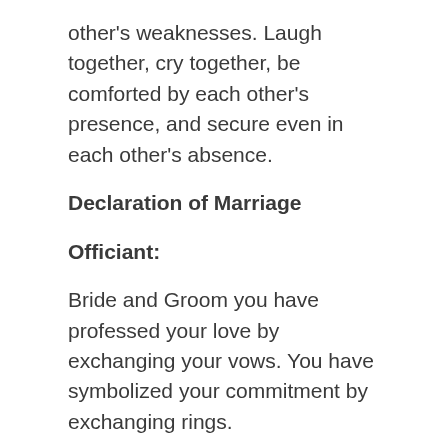other's weaknesses. Laugh together, cry together, be comforted by each other's presence, and secure even in each other's absence.
Declaration of Marriage
Officiant:
Bride and Groom you have professed your love by exchanging your vows. You have symbolized your commitment by exchanging rings.
Now by the power vested in me by the state of _____, it is my honor and delight to declare you husband and wife.